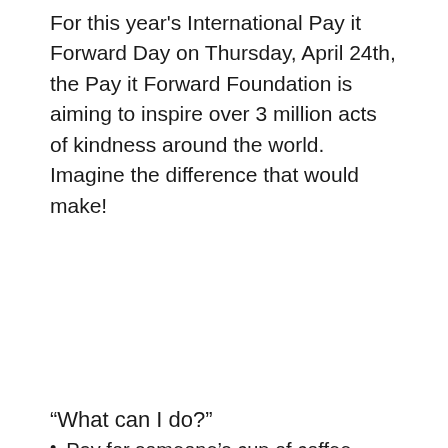For this year's International Pay it Forward Day on Thursday, April 24th, the Pay it Forward Foundation is aiming to inspire over 3 million acts of kindness around the world. Imagine the difference that would make!
“What can I do?”
Pay for someone’s cup of coffee
Get the next person’s food, gas, etc.
Help someone out in need
Be creative!!! Click here for more ideas.
While Pay it Forward Day focuses on marketing the concept of selfless giving for just one day a year,